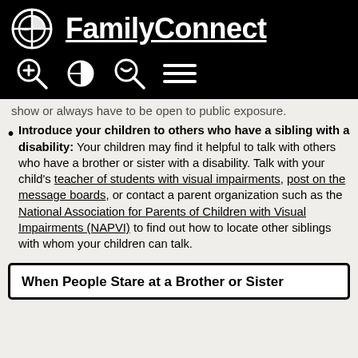APH FamilyConnect
show or always have to be open to public exposure.
Introduce your children to others who have a sibling with a disability: Your children may find it helpful to talk with others who have a brother or sister with a disability. Talk with your child's teacher of students with visual impairments, post on the message boards, or contact a parent organization such as the National Association for Parents of Children with Visual Impairments (NAPVI) to find out how to locate other siblings with whom your children can talk.
When People Stare at a Brother or Sister